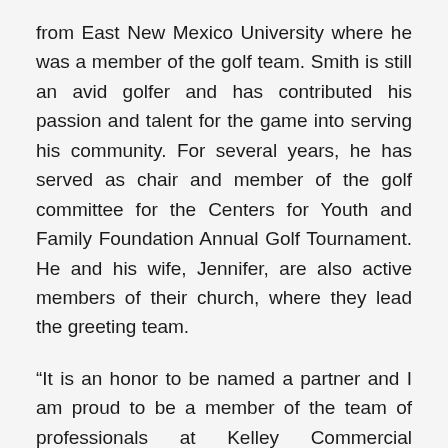from East New Mexico University where he was a member of the golf team. Smith is still an avid golfer and has contributed his passion and talent for the game into serving his community. For several years, he has served as chair and member of the golf committee for the Centers for Youth and Family Foundation Annual Golf Tournament. He and his wife, Jennifer, are also active members of their church, where they lead the greeting team.
“It is an honor to be named a partner and I am proud to be a member of the team of professionals at Kelley Commercial Partners.”